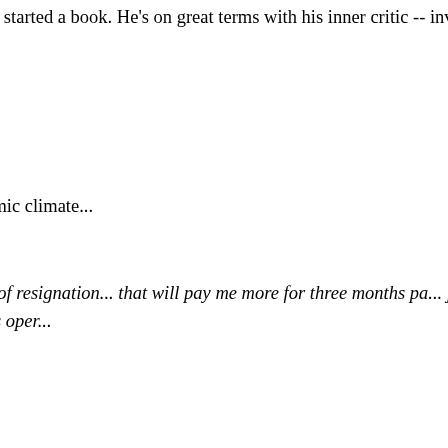The result: my young writer friend found writing fun, and wrote more. He started a book. He's on great terms with his inner critic -- invited to, during the editing process.
I commend this exercise to you -- try it.
Recession-proof your freelance writi...
"Write More And Make More Money F... Productive Writing Process" gives you all... career, no matter what the economic clima...
Three weeks after completing the class...
"Thanks Angela, for all your help and a... week. I printed out my letter of resignation... that will pay me more for three months pa... job in the whole of 2007! You were right -- ... got the skills to land them. Your class oper...
"Write More And Make More Money F... Productive Writing Process" shows you h...